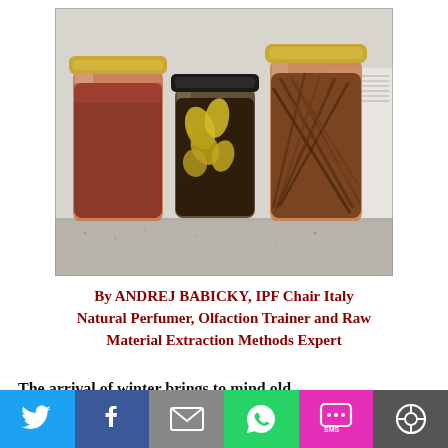[Figure (photo): Three glass jars filled with natural materials on a granite countertop. Left jar has gold lid with reddish-brown powder/granules. Center jar has dark lid with yellow dried plant material. Right jar has gold lid with dark brown fibrous sticks/bark. A notebook or binder is partially visible on the right side.]
By ANDREJ BABICKY, IPF Chair Italy
Natural Perfumer, Olfaction Trainer and Raw Material Extraction Methods Expert
The arrival of winter brings to mind old
[Figure (infographic): Social sharing bar with six buttons: Twitter (blue), Facebook (dark blue), Email (grey), WhatsApp (green), SMS (pink/magenta), and a circular share icon (dark grey).]